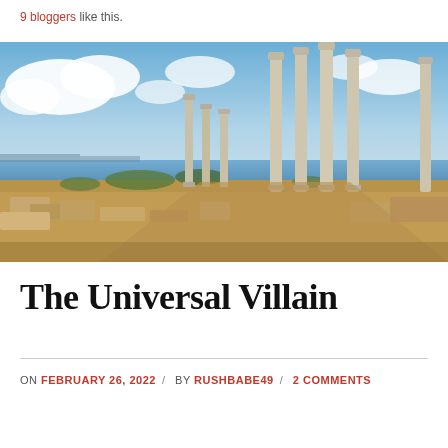9 bloggers like this.
[Figure (photo): Ancient Roman ruins with tall stone columns standing amid rubble, overlooking a coastal city and blue sea under a partly cloudy sky.]
The Universal Villain
ON FEBRUARY 26, 2022 / BY RUSHBABE49 / 2 COMMENTS